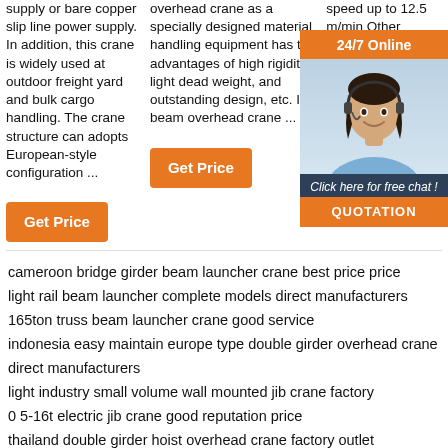supply or bare copper slip line power supply. In addition, this crane is widely used at outdoor freight yard and bulk cargo handling. The crane structure can adopts European-style configuration ...
overhead crane as a specially designed material handling equipment has the advantages of high rigidity, light dead weight, and outstanding design, etc. I beam overhead crane ...
speed up to 12.5 m/min Other specifications on request
Get Price
Get Price
Get Price
[Figure (photo): Customer service representative with headset, 24/7 Online chat widget with QUOTATION button]
cameroon bridge girder beam launcher crane best price price
light rail beam launcher complete models direct manufacturers
165ton truss beam launcher crane good service
indonesia easy maintain europe type double girder overhead crane direct manufacturers
light industry small volume wall mounted jib crane factory
0 5-16t electric jib crane good reputation price
thailand double girder hoist overhead crane factory outlet